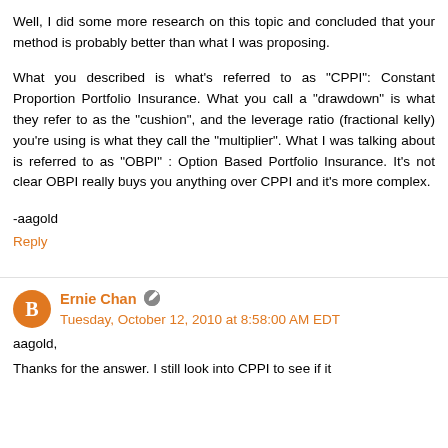Well, I did some more research on this topic and concluded that your method is probably better than what I was proposing.
What you described is what's referred to as "CPPI": Constant Proportion Portfolio Insurance. What you call a "drawdown" is what they refer to as the "cushion", and the leverage ratio (fractional kelly) you're using is what they call the "multiplier". What I was talking about is referred to as "OBPI" : Option Based Portfolio Insurance. It's not clear OBPI really buys you anything over CPPI and it's more complex.
-aagold
Reply
Ernie Chan
Tuesday, October 12, 2010 at 8:58:00 AM EDT
aagold,
Thanks for the answer. I still look into CPPI to see if it...